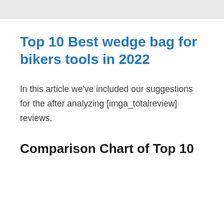Top 10 Best wedge bag for bikers tools in 2022
In this article we've included our suggestions for the after analyzing [imga_totalreview] reviews.
Comparison Chart of Top 10